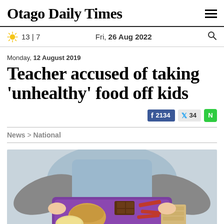Otago Daily Times
13 | 7   Fri, 26 Aug 2022
Monday, 12 August 2019
Teacher accused of taking 'unhealthy' food off kids
Facebook 2134  Twitter 34  Newshub
News > National
[Figure (photo): Child in blue dress holding a purple lunchbox containing chocolate, a bread roll, potato chips, and other snack foods]